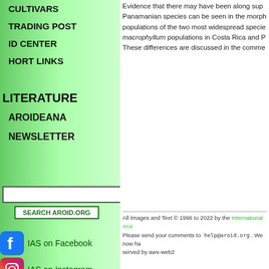CULTIVARS
TRADING POST
ID CENTER
HORT LINKS
LITERATURE
AROIDEANA
NEWSLETTER
Evidence that there may have been along supplant... Panamanian species can be seen in the morph... populations of the two most widespread species macrophyllum populations in Costa Rica and P... These differences are discussed in the comme...
All Images and Text © 1996 to 2022 by the International Aroi... Please send your comments to help@aroid.org . We now ha... served by aws-web2